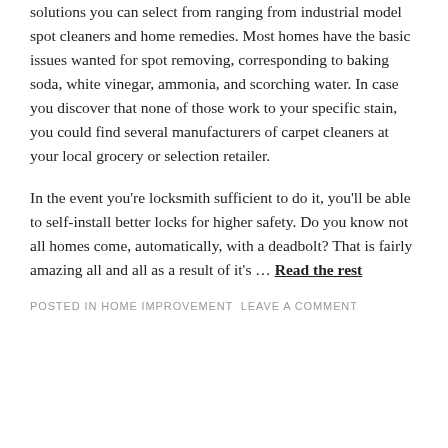solutions you can select from ranging from industrial model spot cleaners and home remedies. Most homes have the basic issues wanted for spot removing, corresponding to baking soda, white vinegar, ammonia, and scorching water. In case you discover that none of those work to your specific stain, you could find several manufacturers of carpet cleaners at your local grocery or selection retailer.
In the event you're locksmith sufficient to do it, you'll be able to self-install better locks for higher safety. Do you know not all homes come, automatically, with a deadbolt? That is fairly amazing all and all as a result of it's … Read the rest
POSTED IN HOME IMPROVEMENT  LEAVE A COMMENT